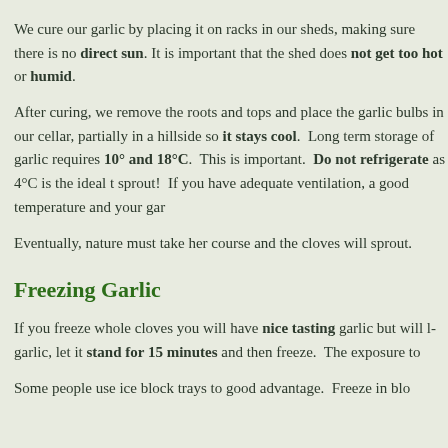We cure our garlic by placing it on racks in our sheds, making sure there is no direct sun. It is important that the shed does not get too hot or humid.
After curing, we remove the roots and tops and place the garlic bulbs in our cellar, partially in a hillside so it stays cool. Long term storage of garlic requires between 10° and 18°C. This is important. Do not refrigerate as 4°C is the ideal temperature to sprout! If you have adequate ventilation, a good temperature and your garlic will keep.
Eventually, nature must take her course and the cloves will sprout.
Freezing Garlic
If you freeze whole cloves you will have nice tasting garlic but will lose texture. Crush garlic, let it stand for 15 minutes and then freeze. The exposure to air activates allicin.
Some people use ice block trays to good advantage. Freeze in blocks.